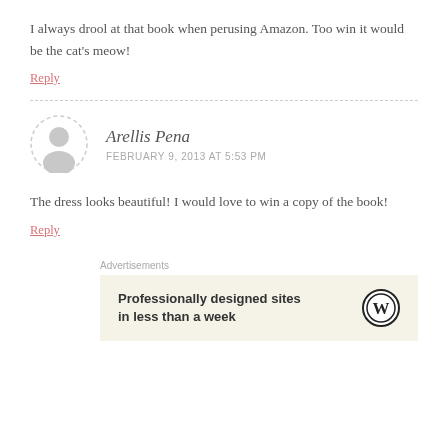I always drool at that book when perusing Amazon. Too win it would be the cat's meow!
Reply
Arellis Pena
FEBRUARY 9, 2013 AT 5:53 PM
The dress looks beautiful! I would love to win a copy of the book!
Reply
Advertisements
Professionally designed sites in less than a week